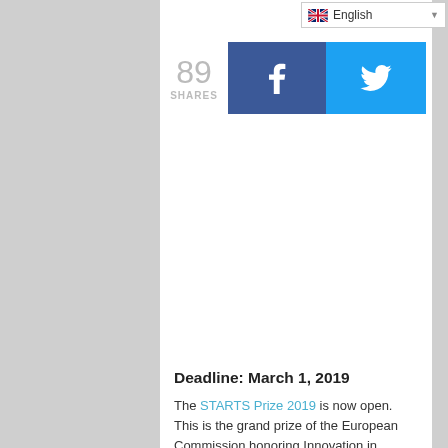[Figure (screenshot): Language selector dropdown showing English with UK flag icon]
89 SHARES
[Figure (logo): Facebook share button (dark blue with white f icon)]
[Figure (logo): Twitter share button (light blue with white bird icon)]
Deadline: March 1, 2019
The STARTS Prize 2019 is now open. This is the grand prize of the European Commission honoring Innovation in Technology, Industry and Society